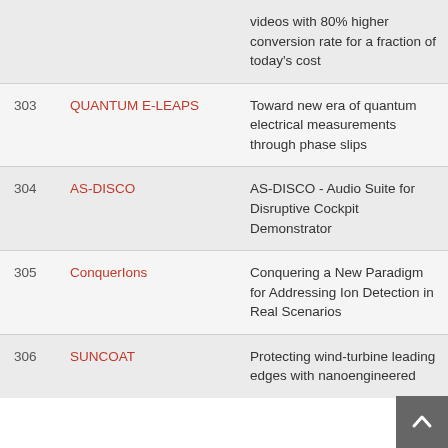| # | Project | Description |
| --- | --- | --- |
|  |  | videos with 80% higher conversion rate for a fraction of today's cost |
| 303 | QUANTUM E-LEAPS | Toward new era of quantum electrical measurements through phase slips |
| 304 | AS-DISCO | AS-DISCO - Audio Suite for Disruptive Cockpit Demonstrator |
| 305 | ConquerIons | Conquering a New Paradigm for Addressing Ion Detection in Real Scenarios |
| 306 | SUNCOAT | Protecting wind-turbine leading edges with nanoengineered |